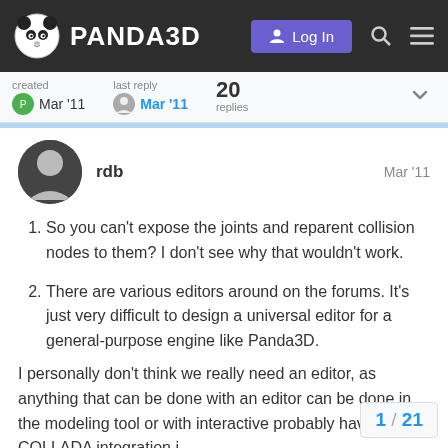PANDA3D
created Mar '11  last reply Mar '11  20 replies
rdb  Mar '11
So you can't expose the joints and reparent collision nodes to them? I don't see why that wouldn't work.
There are various editors around on the forums. It's just very difficult to design a universal editor for a general-purpose engine like Panda3D.
I personally don't think we really need an editor, as anything that can be done with an editor can be done in the modeling tool or with interactive probably have COLLADA integration i
1 / 21